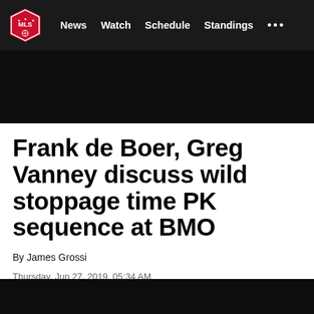MLS — News  Watch  Schedule  Standings  ...
[Figure (photo): Black hero image area below navigation bar]
Frank de Boer, Greg Vanney discuss wild stoppage time PK sequence at BMO
By James Grossi
Thursday, Jun 27, 2019, 05:34 AM
[Figure (other): Social share buttons: Twitter, Facebook, Link/Copy icons]